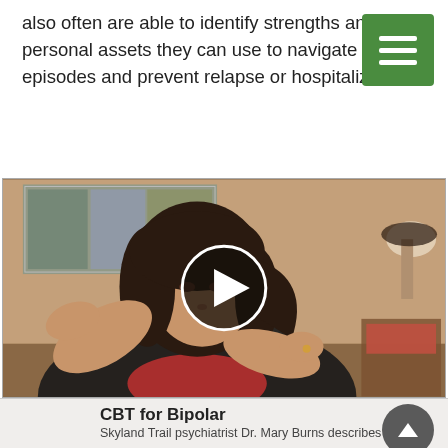also often are able to identify strengths and personal assets they can use to navigate mood episodes and prevent relapse or hospitalizations.
[Figure (photo): Video thumbnail showing a woman with dark hair wearing a black jacket and red top, gesturing with her hands, seated in an office or clinical setting. A play button overlay is centered on the image. Abstract artwork is visible on the wall behind her.]
CBT for Bipolar
Skyland Trail psychiatrist Dr. Mary Burns describes